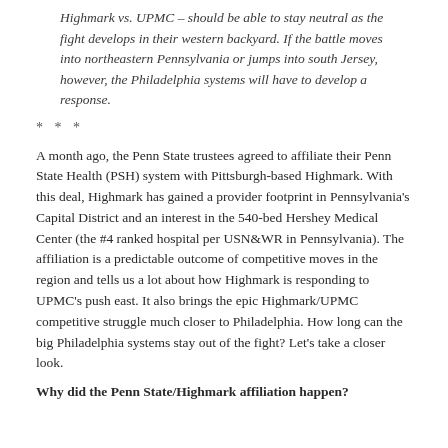Highmark vs. UPMC – should be able to stay neutral as the fight develops in their western backyard. If the battle moves into northeastern Pennsylvania or jumps into south Jersey, however, the Philadelphia systems will have to develop a response.
* * *
A month ago, the Penn State trustees agreed to affiliate their Penn State Health (PSH) system with Pittsburgh-based Highmark. With this deal, Highmark has gained a provider footprint in Pennsylvania's Capital District and an interest in the 540-bed Hershey Medical Center (the #4 ranked hospital per USN&WR in Pennsylvania). The affiliation is a predictable outcome of competitive moves in the region and tells us a lot about how Highmark is responding to UPMC's push east. It also brings the epic Highmark/UPMC competitive struggle much closer to Philadelphia. How long can the big Philadelphia systems stay out of the fight? Let's take a closer look.
Why did the Penn State/Highmark affiliation happen?